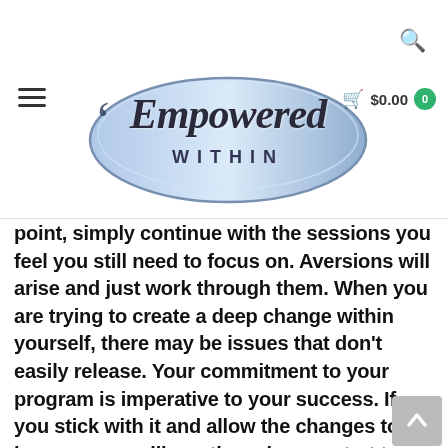[Figure (logo): Empowered Within logo — stylized cursive 'Empowered' text above 'WITHIN' in an oval silver/blue gradient shape with a sparkle star graphic]
Navigation header with hamburger menu, Empowered Within logo, search icon, cart showing $0.00 with badge 0
point, simply continue with the sessions you feel you still need to focus on. Aversions will arise and just work through them. When you are trying to create a deep change within yourself, there may be issues that don't easily release. Your commitment to your program is imperative to your success. If you stick with it and allow the changes to happen, you will see these issues start to release for you. Don't make work of it; just allow it to unfold naturally. Relaxation and space repetition